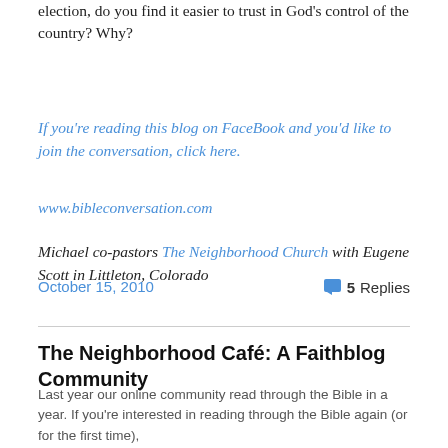election, do you find it easier to trust in God's control of the country? Why?
If you're reading this blog on FaceBook and you'd like to join the conversation, click here.
www.bibleconversation.com
Michael co-pastors The Neighborhood Church with Eugene Scott in Littleton, Colorado
October 15, 2010
5 Replies
The Neighborhood Café: A Faithblog Community
Last year our online community read through the Bible in a year. If you're interested in reading through the Bible again (or for the first time),